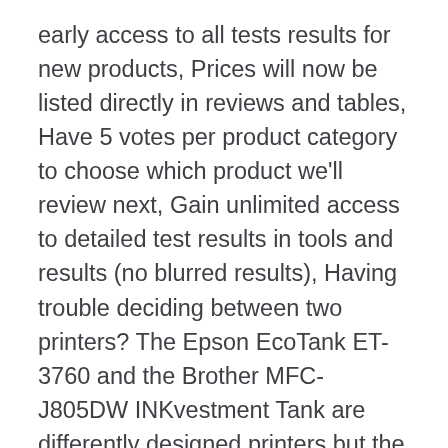early access to all tests results for new products, Prices will now be listed directly in reviews and tables, Have 5 votes per product category to choose which product we'll review next, Gain unlimited access to detailed test results in tools and results (no blurred results), Having trouble deciding between two printers? The Epson EcoTank ET-3760 and the Brother MFC-J805DW INKvestment Tank are differently designed printers but the Epson is better for small/home offices. Thanks to its supertank system, it can yield a lot of pages at an affordable cost-per-print. No one tests printers like we do. © 2021 9298-5266 Quebec Inc. All Rights Reserved. So Epson EcoTank ET-4760,